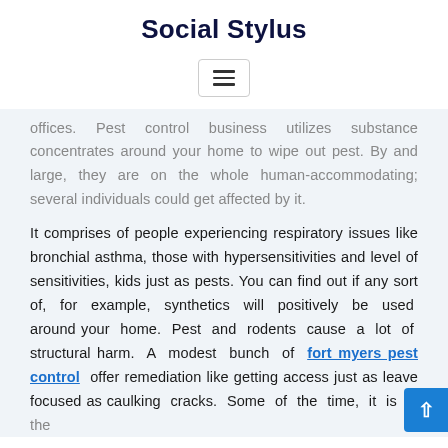Social Stylus
[Figure (other): Hamburger menu button icon with three horizontal lines inside a rounded rectangle border]
offices. Pest control business utilizes substance concentrates around your home to wipe out pest. By and large, they are on the whole human-accommodating; several individuals could get affected by it.
It comprises of people experiencing respiratory issues like bronchial asthma, those with hypersensitivities and level of sensitivities, kids just as pests. You can find out if any sort of, for example, synthetics will positively be used around your home. Pest and rodents cause a lot of structural harm. A modest bunch of fort myers pest control offer remediation like getting access just as leave focused as caulking cracks. Some of the time, it is in the